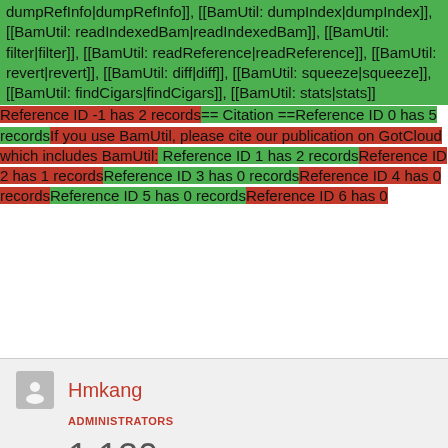dumpRefInfo|dumpRefInfo]], [[BamUtil: dumpIndex|dumpIndex]], [[BamUtil: readIndexedBam|readIndexedBam]], [[BamUtil: filter|filter]], [[BamUtil: readReference|readReference]], [[BamUtil: revert|revert]], [[BamUtil: diff|diff]], [[BamUtil: squeeze|squeeze]], [[BamUtil: findCigars|findCigars]], [[BamUtil: stats|stats]]
Reference ID -1 has 2 records== Citation ==Reference ID 0 has 5 recordsIf you use BamUtil, please cite our publication on GotCloud which includes BamUtil: Reference ID 1 has 2 recordsReference ID 2 has 1 recordsReference ID 3 has 0 recordsReference ID 4 has 0 recordsReference ID 5 has 0 recordsReference ID 6 has 0
Hmkang
ADMINISTRATORS
1,120 EDITS